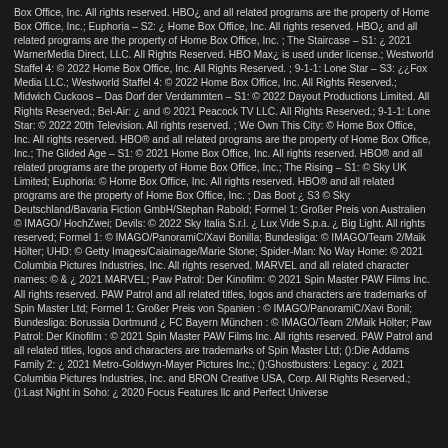Box Office, Inc. All rights reserved. HBO¿ and all related programs are the property of Home Box Office, Inc.; Euphoria – S2: ¿ Home Box Office, Inc. All rights reserved. HBO¿ and all related programs are the property of Home Box Office, Inc. ; The Staircase – S1: ¿ 2021 WarnerMedia Direct, LLC. All Rights Reserved. HBO Max¿ is used under license.; Westworld Staffel 4: © 2022 Home Box Office, Inc. All Rights Reserved. ; 9-1-1: Lone Star – S3: ¿¿Fox Media LLC.; Westworld Staffel 4: © 2022 Home Box Office, Inc. All Rights Reserved.; Midwich Cuckoos – Das Dorf der Verdammten – S1: © 2022 Dayout Productions Limited. All Rights Reserved.; Bel-Air: ¿ and © 2021 Peacock TV LLC. All Rights Reserved.; 9-1-1: Lone Star: © 2022 20th Television. All rights reserved. ; We Own This City: © Home Box Office, Inc. All rights reserved. HBO® and all related programs are the property of Home Box Office, Inc.; The Gilded Age – S1: © 2021 Home Box Office, Inc. All rights reserved. HBO® and all related programs are the property of Home Box Office, Inc.; The Rising – S1: © Sky UK Limited; Euphoria: © Home Box Office, Inc. All rights reserved. HBO® and all related programs are the property of Home Box Office, Inc. ; Das Boot ¿ S3 © Sky Deutschland/Bavaria Fiction GmbH/Stephan Rabold; Formel 1: Großer Preis von Australien © IMAGO/ HochZwei; Devils: © 2022 Sky Italia S.r.l. ¿ Lux Vide S.p.a. ¿ Big Light. All rights reserved; Formel 1: © IMAGO/PanoramiC/Xavi Bonilla; Bundesliga: © IMAGO/Team 2/Maik Hölter; UHD: © Getty Images/Caiaimage/Marie Stone; Spider-Man: No Way Home: © 2021 Columbia Pictures Industries, Inc. All rights reserved. MARVEL and all related character names: © & ¿ 2021 MARVEL; Paw Patrol: Der Kinofilm: © 2021 Spin Master PAW Films Inc. All rights reserved. PAW Patrol and all related titles, logos and characters are trademarks of Spin Master Ltd; Formel 1: Großer Preis von Spanien : © IMAGO/PanoramiC/Xavi Bonil; Bundesliga: Borussia Dortmund ¿ FC Bayern München : © IMAGO/Team 2/Maik Hölter; Paw Patrol: Der Kinofilm : © 2021 Spin Master PAW Films Inc. All rights reserved. PAW Patrol and all related titles, logos and characters are trademarks of Spin Master Ltd; ():Die Addams Family 2: ¿ 2021 Metro-Goldwyn-Mayer Pictures Inc.; ():Ghostbusters: Legacy: ¿ 2021 Columbia Pictures Industries, Inc. and BRON Creative USA, Corp. All Rights Reserved.; ():Last Night in Soho: ¿ 2020 Focus Features llc and Perfect Universe